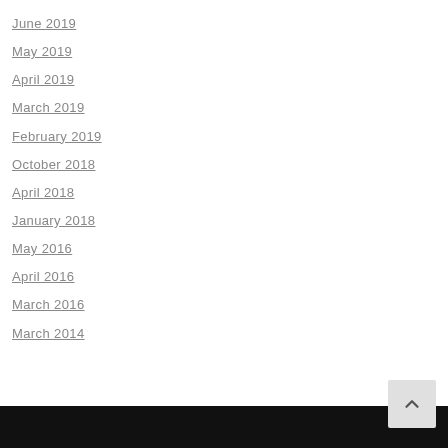June 2019
May 2019
April 2019
March 2019
February 2019
October 2018
April 2018
January 2018
May 2016
April 2016
March 2016
March 2014